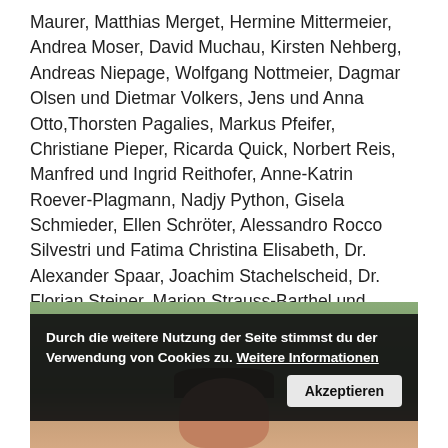Maurer, Matthias Merget, Hermine Mittermeier, Andrea Moser, David Muchau, Kirsten Nehberg, Andreas Niepage, Wolfgang Nottmeier, Dagmar Olsen und Dietmar Volkers, Jens und Anna Otto,Thorsten Pagalies, Markus Pfeifer, Christiane Pieper, Ricarda Quick, Norbert Reis, Manfred und Ingrid Reithofer, Anne-Katrin Roever-Plagmann, Nadjy Python, Gisela Schmieder, Ellen Schröter, Alessandro Rocco Silvestri und Fatima Christina Elisabeth, Dr. Alexander Spaar, Joachim Stachelscheid, Dr. Florian Steiner, Marion Strauss-Barthel und Herbert Barthel, Kerstin Struck, Gabriele Sutor-Krüger, Monika Theissing, Rosario Luz Mendivil Trelles, Cornelia Edith Vettel, Ulrich Wandt, Gundula, Sophie und Thilo Weber, Franz Wetzl, Irina Wiessner, Sabine Willmann, Roger Windrich, Angelika Winkler, Wolfgang Zierke, Beate Ziethen
[Figure (photo): Photo of a person's face with dark hair against a natural/outdoor background]
Durch die weitere Nutzung der Seite stimmst du der Verwendung von Cookies zu. Weitere Informationen   Akzeptieren